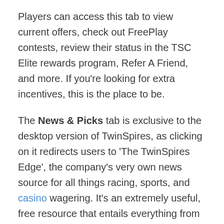Players can access this tab to view current offers, check out FreePlay contests, review their status in the TSC Elite rewards program, Refer A Friend, and more. If you're looking for extra incentives, this is the place to be.
The News & Picks tab is exclusive to the desktop version of TwinSpires, as clicking on it redirects users to 'The TwinSpires Edge', the company's very own news source for all things racing, sports, and casino wagering. It's an extremely useful, free resource that entails everything from pick write-ups to videos to podcasts. Players who seek some sort of an edge or maybe just want some additional info should definitely check out this section of the site.
Powered by brisnet.com and only available on desktop, the Handicapping tab provides players with a wide range